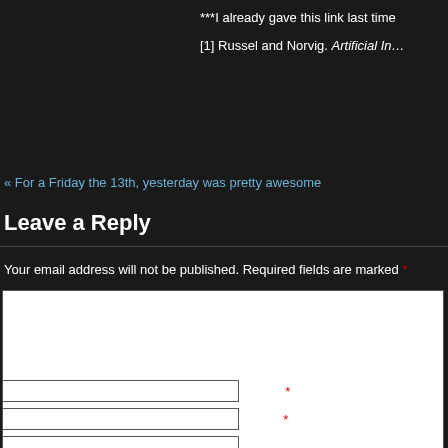***I already gave this link last time
[1] Russel and Norvig. Artificial In...
« For a Friday the 13th, yesterday was pretty awesome
Leave a Reply
Your email address will not be published. Required fields are marked *
Name *
Email *
Website